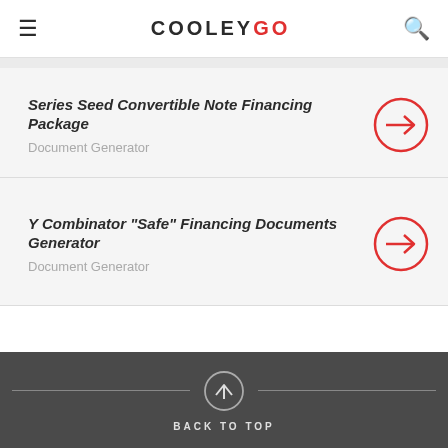COOLEY GO
Series Seed Convertible Note Financing Package
Document Generator
Y Combinator "Safe" Financing Documents Generator
Document Generator
BACK TO TOP